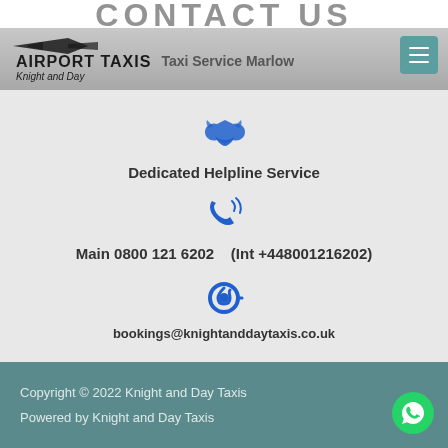CONTACT US
Airport Taxis Knight and Day — Taxi Service Marlow
[Figure (illustration): Blue handshake/helping hands icon]
Dedicated Helpline Service
[Figure (illustration): Blue telephone ringing icon]
Main 0800 121 6202    (Int +448001216202)
[Figure (illustration): Blue at-sign / email icon]
bookings@knightanddaytaxis.co.uk
Copyright © 2022 Knight and Day Taxis
Powered by Knight and Day Taxis